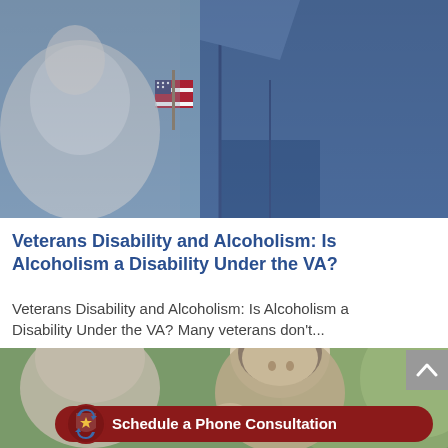[Figure (photo): Close-up of a veteran holding a small American flag, wearing a denim jacket. Crowd visible in background.]
Veterans Disability and Alcoholism: Is Alcoholism a Disability Under the VA?
Veterans Disability and Alcoholism: Is Alcoholism a Disability Under the VA? Many veterans don't...
[Figure (photo): Two people in conversation outdoors, one appearing distressed. A Schedule a Phone Consultation button overlaid at the bottom.]